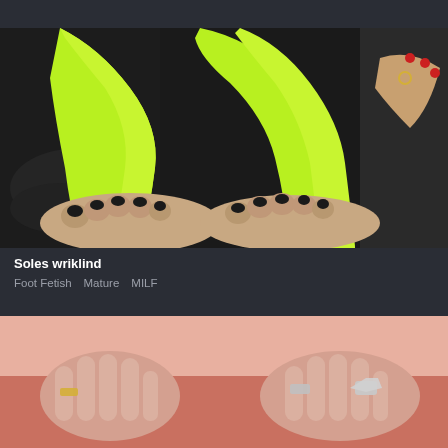[Figure (photo): Close-up photo of feet with black toenail polish wearing neon green leg warmers/sleeves, resting on a dark car surface. Hands with red nails and rings visible in background.]
Soles wriklind
Foot Fetish   Mature   MILF
[Figure (photo): Close-up photo of hands with rings wearing a pink top, visible at the bottom portion of the page.]